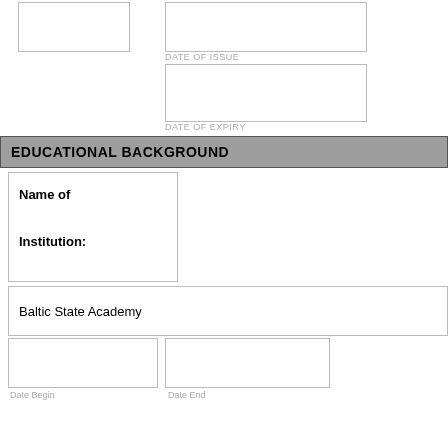DATE OF ISSUE
DATE OF EXPIRY
EDUCATIONAL BACKGROUND
Name of

Institution:
Baltic State Academy
Date Begin
Date End
Obtained

Graduation

Degree:
Navigator
Name of

Institution: